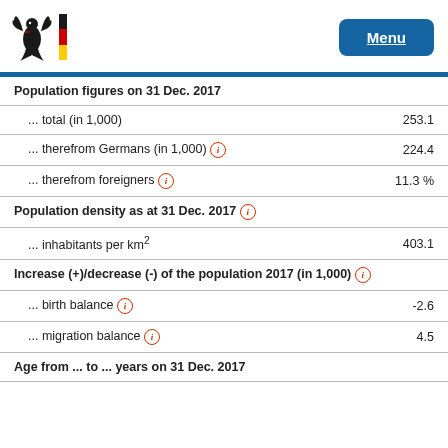[Figure (logo): German Federal Eagle (Bundesadler) logo with German flag tricolor bar]
| Indicator | Value |
| --- | --- |
| Population figures on 31 Dec. 2017 |  |
| ... total (in 1,000) | 253.1 |
| ... therefrom Germans (in 1,000) [i] | 224.4 |
| ... therefrom foreigners [i] | 11.3 % |
| Population density as at 31 Dec. 2017 [i] |  |
| ... inhabitants per km² | 403.1 |
| Increase (+)/decrease (-) of the population 2017 (in 1,000) [i] |  |
| ... birth balance [i] | -2.6 |
| ... migration balance [i] | 4.5 |
| Age from ... to ... years on 31 Dec. 2017 |  |